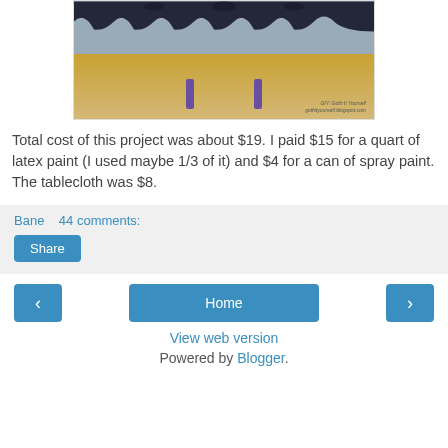[Figure (photo): Photo of a gothic-style table with black bat-motif decorative tablecloth and purple legs on a wooden floor. Watermark reads 'GIY: Goth It Yourself / gothityourself.blogspot.com']
Total cost of this project was about $19. I paid $15 for a quart of latex paint (I used maybe 1/3 of it) and $4 for a can of spray paint. The tablecloth was $8.
Bane    44 comments:
Share
< Home >
View web version
Powered by Blogger.